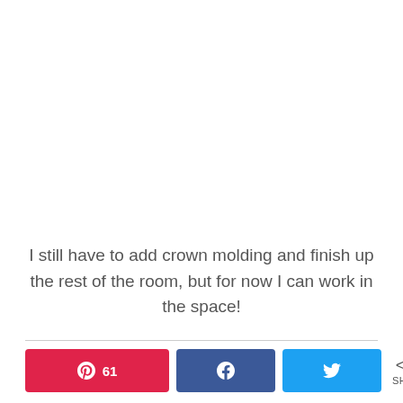I still have to add crown molding and finish up the rest of the room, but for now I can work in the space!
61 SHARES